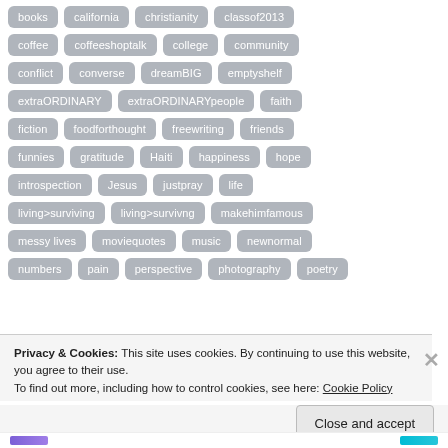books, california, christianity, classof2013, coffee, coffeeshoptalk, college, community, conflict, converse, dreamBIG, emptyshelf, extraORDINARY, extraORDINARYpeople, faith, fiction, foodforthought, freewriting, friends, funnies, gratitude, Haiti, happiness, hope, introspection, Jesus, justpray, life, living>surviving, living>survivng, makehimfamous, messy lives, moviequotes, music, newnormal, numbers, pain, perspective, photography, poetry
Privacy & Cookies: This site uses cookies. By continuing to use this website, you agree to their use.
To find out more, including how to control cookies, see here: Cookie Policy
Close and accept